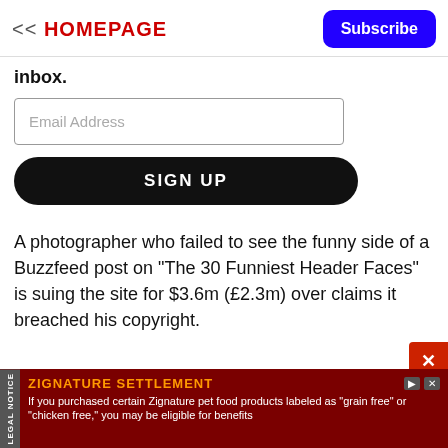<< HOMEPAGE | Subscribe
inbox.
[Figure (screenshot): Email address input field with placeholder text 'Email Address']
[Figure (screenshot): Black rounded 'SIGN UP' button]
A photographer who failed to see the funny side of a Buzzfeed post on "The 30 Funniest Header Faces" is suing the site for $3.6m (£2.3m) over claims it breached his copyright.
[Figure (screenshot): Red close button with X]
[Figure (infographic): Ad banner: ZIGNATURE SETTLEMENT - If you purchased certain Zignature pet food products labeled as 'grain free' or 'chicken free,' you may be eligible for benefits]